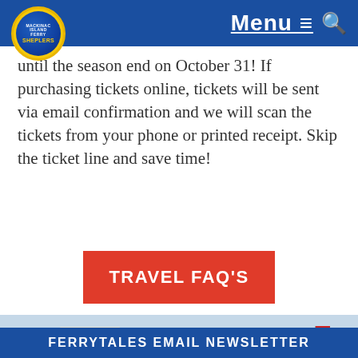Menu ≡ 🔍
until the season end on October 31! If purchasing tickets online, tickets will be sent via email confirmation and we will scan the tickets from your phone or printed receipt. Skip the ticket line and save time!
[Figure (other): Red button with white text reading TRAVEL FAQ'S]
[Figure (photo): Photo of Shepler's ferry boat docked at a harbor with buildings in background, American flag visible on the vessel]
FERRYTALES EMAIL NEWSLETTER